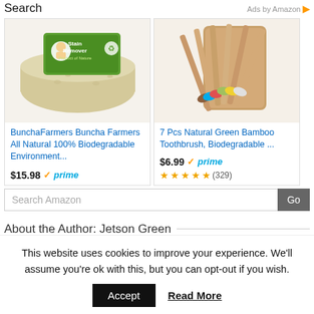Search
Ads by Amazon
[Figure (photo): BunchaFarmers Buncha Farmers All Natural 100% Biodegradable stain remover bar product photo with green packaging]
BunchaFarmers Buncha Farmers All Natural 100% Biodegradable Environment...
$15.98 prime
[Figure (photo): 7 Pcs Natural Green Bamboo Toothbrush set fanned out from a wooden container, showing colorful bristles]
7 Pcs Natural Green Bamboo Toothbrush, Biodegradable ...
$6.99 prime
(329) 4.5 stars
Search Amazon
About the Author: Jetson Green
This website uses cookies to improve your experience. We'll assume you're ok with this, but you can opt-out if you wish.
Accept
Read More